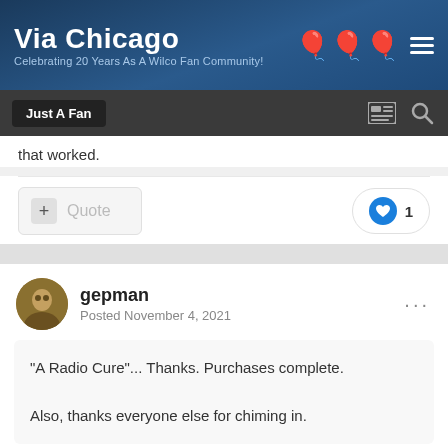Via Chicago — Celebrating 20 Years As A Wilco Fan Community!
that worked.
gepman
Posted November 4, 2021
"A Radio Cure"... Thanks. Purchases complete.

Also, thanks everyone else for chiming in.